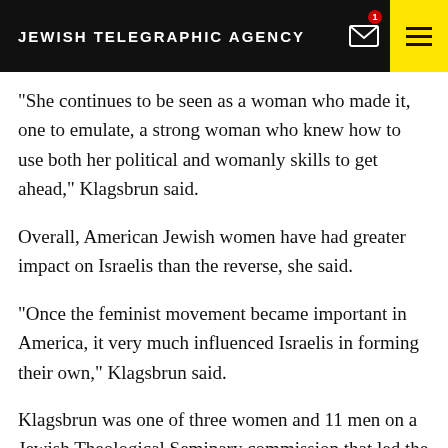JEWISH TELEGRAPHIC AGENCY
“She continues to be seen as a woman who made it, one to emulate, a strong woman who knew how to use both her political and womanly skills to get ahead,” Klagsbrun said.
Overall, American Jewish women have had greater impact on Israelis than the reverse, she said.
“Once the feminist movement became important in America, it very much influenced Israelis in forming their own,” Klagsbrun said.
Klagsbrun was one of three women and 11 men on a Jewish Theological Seminary commission that led the